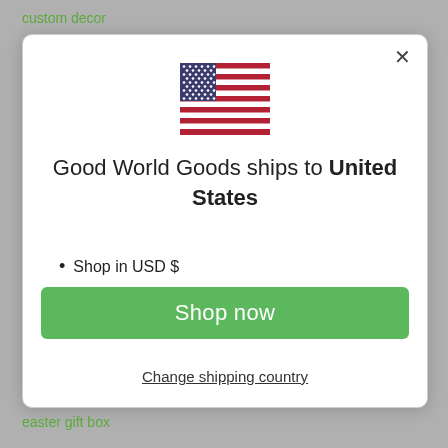custom decor
[Figure (illustration): US flag icon centered in modal dialog]
Good World Goods ships to United States
Shop in USD $
Get shipping options for United States
Shop now
Change shipping country
easter gift box